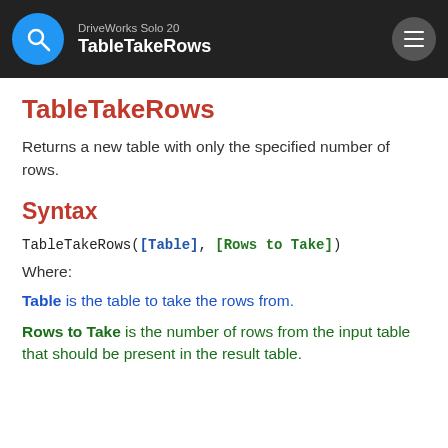DriveWorks Solo 20 — TableTakeRows
TableTakeRows
Returns a new table with only the specified number of rows.
Syntax
Where:
Table is the table to take the rows from.
Rows to Take is the number of rows from the input table that should be present in the result table.